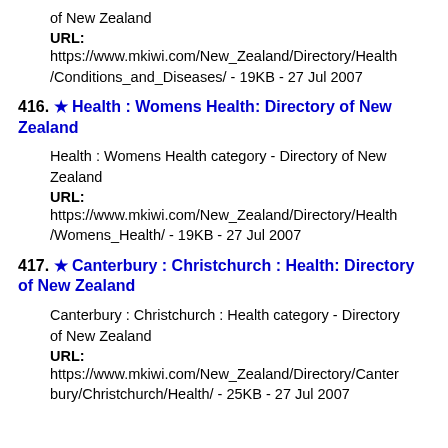of New Zealand
URL:
https://www.mkiwi.com/New_Zealand/Directory/Health/Conditions_and_Diseases/ - 19KB - 27 Jul 2007
416. ★ Health : Womens Health: Directory of New Zealand
Health : Womens Health category - Directory of New Zealand
URL:
https://www.mkiwi.com/New_Zealand/Directory/Health/Womens_Health/ - 19KB - 27 Jul 2007
417. ★ Canterbury : Christchurch : Health: Directory of New Zealand
Canterbury : Christchurch : Health category - Directory of New Zealand
URL:
https://www.mkiwi.com/New_Zealand/Directory/Canterbury/Christchurch/Health/ - 25KB - 27 Jul 2007